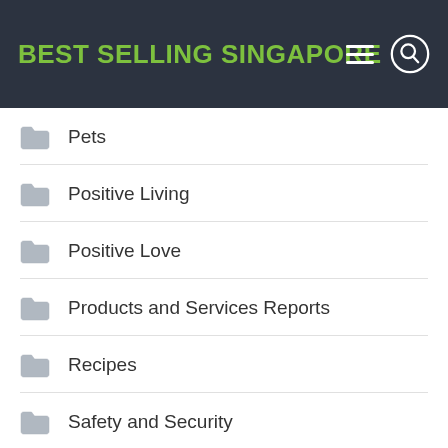BEST SELLING SINGAPORE
Pets
Positive Living
Positive Love
Products and Services Reports
Recipes
Safety and Security
Self Improvement
Singapore Policies
Socializing 101